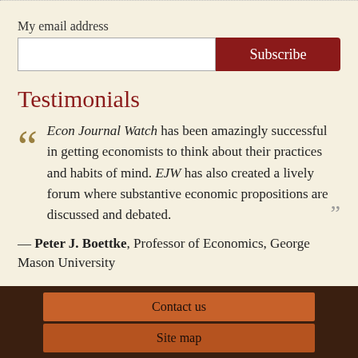My email address
[Figure (screenshot): Email input field with white text box and dark red Subscribe button]
Testimonials
Econ Journal Watch has been amazingly successful in getting economists to think about their practices and habits of mind. EJW has also created a lively forum where substantive economic propositions are discussed and debated.
— Peter J. Boettke, Professor of Economics, George Mason University
Contact us | Site map